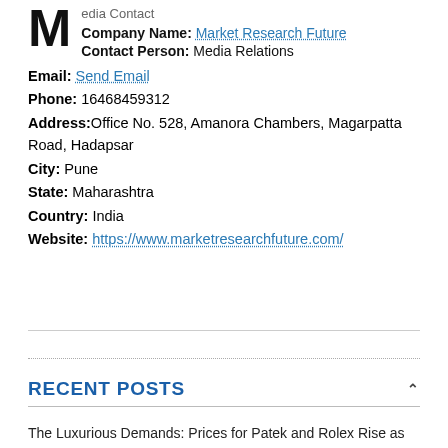Media Contact
Company Name: Market Research Future
Contact Person: Media Relations
Email: Send Email
Phone: 16468459312
Address: Office No. 528, Amanora Chambers, Magarpatta Road, Hadapsar
City: Pune
State: Maharashtra
Country: India
Website: https://www.marketresearchfuture.com/
RECENT POSTS
The Luxurious Demands: Prices for Patek and Rolex Rise as